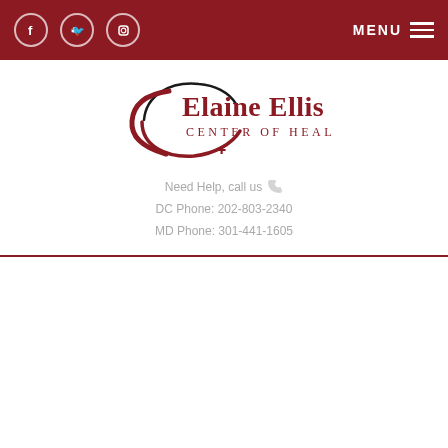Elaine Ellis Center of Health — top navigation bar with social icons (Facebook, Twitter, Instagram) and MENU button
[Figure (logo): Elaine Ellis Center of Health logo — stylized C shape with swoosh and text 'Elaine Ellis Center of Health' in dark red with a small cross symbol below]
Need Help, call us
DC Phone: 202-803-2340
MD Phone: 301-441-1605